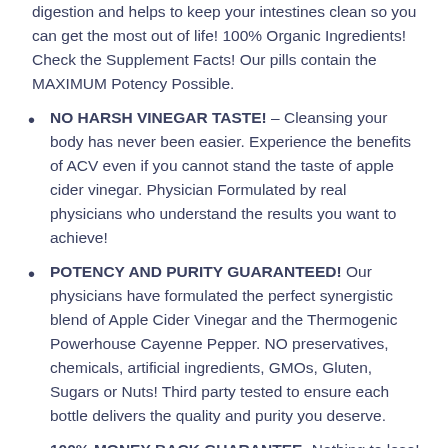digestion and helps to keep your intestines clean so you can get the most out of life! 100% Organic Ingredients! Check the Supplement Facts! Our pills contain the MAXIMUM Potency Possible.
NO HARSH VINEGAR TASTE! – Cleansing your body has never been easier. Experience the benefits of ACV even if you cannot stand the taste of apple cider vinegar. Physician Formulated by real physicians who understand the results you want to achieve!
POTENCY AND PURITY GUARANTEED! Our physicians have formulated the perfect synergistic blend of Apple Cider Vinegar and the Thermogenic Powerhouse Cayenne Pepper. NO preservatives, chemicals, artificial ingredients, GMOs, Gluten, Sugars or Nuts! Third party tested to ensure each bottle delivers the quality and purity you deserve.
100% MONEY-BACK GUARANTEE- Nothing to lose! We